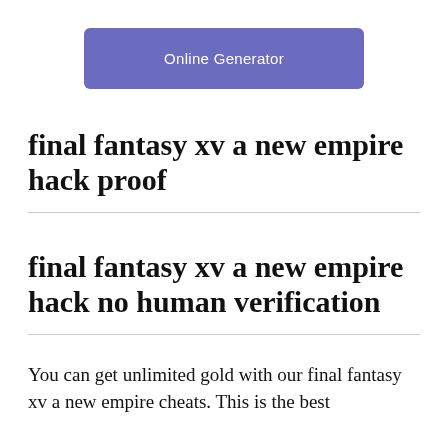[Figure (other): Purple/indigo button labeled 'Online Generator']
final fantasy xv a new empire hack proof
final fantasy xv a new empire hack no human verification
You can get unlimited gold with our final fantasy xv a new empire cheats. This is the best